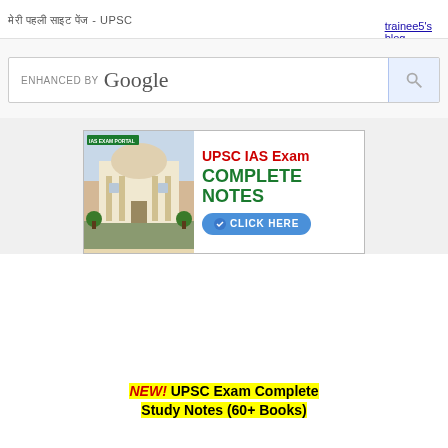??? ??? ???? ???? - UPSC
trainee5's blog
[Figure (screenshot): Google search bar with 'ENHANCED BY Google' label and a search button]
[Figure (infographic): IAS Exam Portal advertisement banner showing a building photo with text 'UPSC IAS Exam COMPLETE NOTES CLICK HERE']
NEW! UPSC Exam Complete Study Notes (60+ Books)